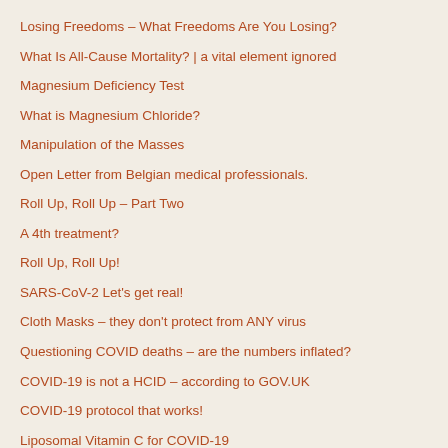Losing Freedoms – What Freedoms Are You Losing?
What Is All-Cause Mortality? | a vital element ignored
Magnesium Deficiency Test
What is Magnesium Chloride?
Manipulation of the Masses
Open Letter from Belgian medical professionals.
Roll Up, Roll Up – Part Two
A 4th treatment?
Roll Up, Roll Up!
SARS-CoV-2 Let's get real!
Cloth Masks – they don't protect from ANY virus
Questioning COVID deaths – are the numbers inflated?
COVID-19 is not a HCID – according to GOV.UK
COVID-19 protocol that works!
Liposomal Vitamin C for COVID-19